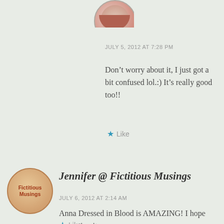[Figure (illustration): Circular avatar for a bookshelf-themed blog, partially visible at top]
JULY 5, 2012 AT 7:28 PM
Don’t worry about it, I just got a bit confused lol.:) It’s really good too!!
★ Like
[Figure (illustration): Circular avatar for Fictitious Musings blog with orange/tan color scheme]
Jennifer @ Fictitious Musings
JULY 6, 2012 AT 2:14 AM
Anna Dressed in Blood is AMAZING! I hope you enjoy it.
★ Like